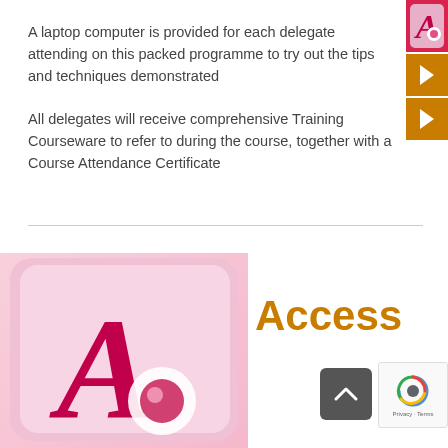A laptop computer is provided for each delegate attending on this packed programme to try out the tips and techniques demonstrated
All delegates will receive comprehensive Training Courseware to refer to during the course, together with a Course Attendance Certificate
[Figure (logo): Microsoft Access application icon - pink/magenta A with circular badge]
Access